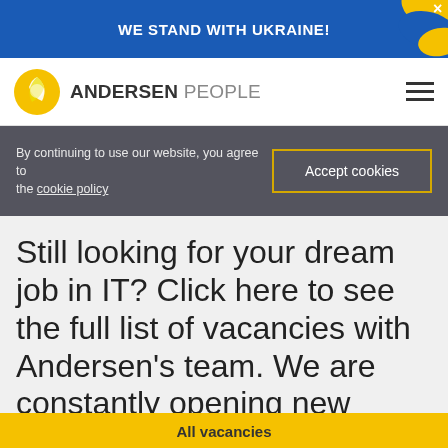WE STAND WITH UKRAINE!
[Figure (logo): Andersen People logo with yellow sun/leaf icon and text ANDERSEN PEOPLE]
By continuing to use our website, you agree to the cookie policy
Accept cookies
Still looking for your dream job in IT? Click here to see the full list of vacancies with Andersen's team. We are constantly opening new positions!
All vacancies